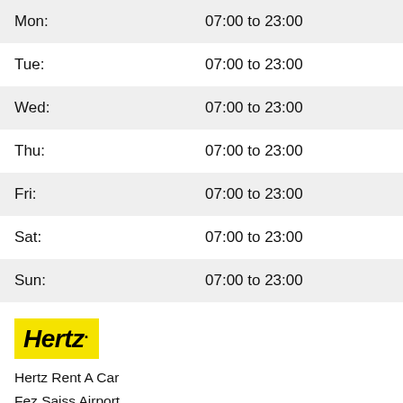| Day | Hours |
| --- | --- |
| Mon: | 07:00 to 23:00 |
| Tue: | 07:00 to 23:00 |
| Wed: | 07:00 to 23:00 |
| Thu: | 07:00 to 23:00 |
| Fri: | 07:00 to 23:00 |
| Sat: | 07:00 to 23:00 |
| Sun: | 07:00 to 23:00 |
[Figure (logo): Hertz logo — yellow rectangle with italic black bold text 'Hertz.']
Hertz Rent A Car
Fez Saiss Airport
Fez Saiss
Morocco
Opening Hours